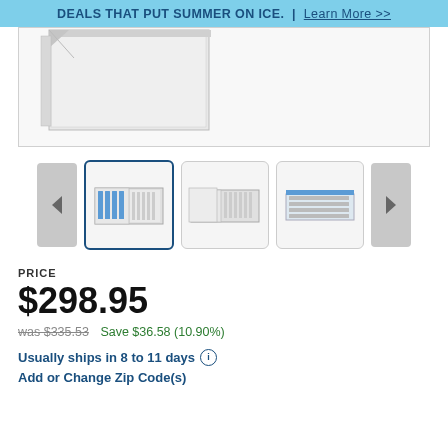DEALS THAT PUT SUMMER ON ICE. | Learn More >>
[Figure (photo): Main product image area showing top portion of a white wall-mount charging cabinet with door open]
[Figure (photo): Thumbnail carousel with navigation arrows and three thumbnail images of a white charging cabinet; first thumbnail is selected (active border). Left/right navigation arrows on sides.]
PRICE
$298.95
was $335.53   Save $36.58 (10.90%)
Usually ships in 8 to 11 days
Add or Change Zip Code(s)